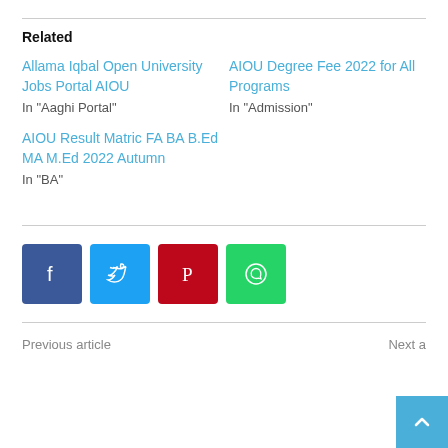Related
Allama Iqbal Open University Jobs Portal AIOU
In "Aaghi Portal"
AIOU Degree Fee 2022 for All Programs
In "Admission"
AIOU Result Matric FA BA B.Ed MA M.Ed 2022 Autumn
In "BA"
[Figure (infographic): Row of four social media share buttons: Facebook (dark blue), Twitter (light blue), Pinterest (red), WhatsApp (green), each showing the platform icon in white.]
Previous article
Next a